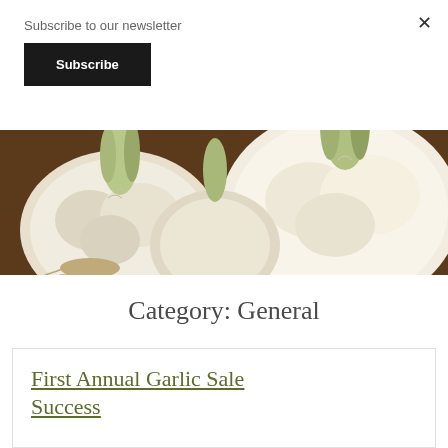Subscribe to our newsletter
Subscribe
[Figure (photo): Close-up photograph of garlic bulbs with roots and green stems, arranged on a dark wooden surface]
Category: General
First Annual Garlic Sale Success